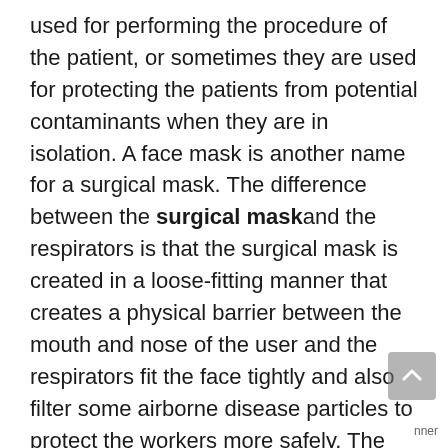used for performing the procedure of the patient, or sometimes they are used for protecting the patients from potential contaminants when they are in isolation. A face mask is another name for a surgical mask. The difference between the surgical mask and the respirators is that the surgical mask is created in a loose-fitting manner that creates a physical barrier between the mouth and nose of the user and the respirators fit the face tightly and also filter some airborne disease particles to protect the workers more safely. The lifetime of this mask is a maximum of 8 hours also depending on the environmental conditions. It made some difficulties during breathing that shows have to change the mask. This mask requires a flume mesh of synthetic polymer fibers, specifically non-woven polypropylene fabric. It can be produced by melt blowing and forms the filtration layer Which filters out the hazardous particles from the atmosphere.